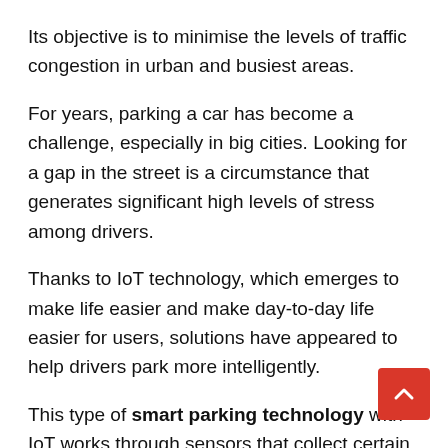Its objective is to minimise the levels of traffic congestion in urban and busiest areas.
For years, parking a car has become a challenge, especially in big cities. Looking for a gap in the street is a circumstance that generates significant high levels of stress among drivers.
Thanks to IoT technology, which emerges to make life easier and make day-to-day life easier for users, solutions have appeared to help drivers park more intelligently.
This type of smart parking technology with IoT works through sensors that collect certain information about the state of traffic, roads,